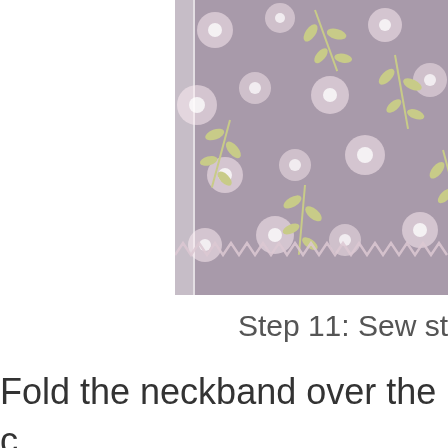[Figure (photo): Fabric with purple/mauve background featuring floral/botanical pattern with circular eye motifs and leaf sprigs in cream and yellow-green, with a zigzag stitch line near the bottom and a white binding strip on the left edge.]
Step 11: Sew st
Fold the neckband over the c and pin down. Sew. If you wa straps to tie your straps up w